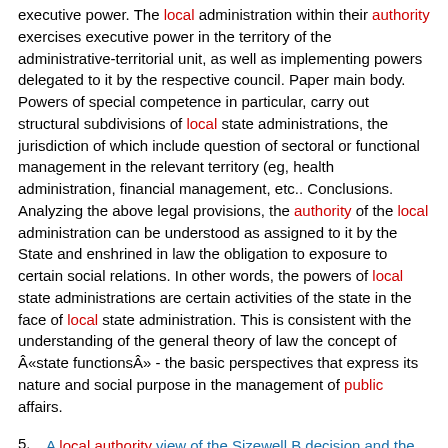executive power. The local administration within their authority exercises executive power in the territory of the administrative-territorial unit, as well as implementing powers delegated to it by the respective council. Paper main body. Powers of special competence in particular, carry out structural subdivisions of local state administrations, the jurisdiction of which include question of sectoral or functional management in the relevant territory (eg, health administration, financial management, etc.. Conclusions. Analyzing the above legal provisions, the authority of the local administration can be understood as assigned to it by the State and enshrined in law the obligation to exposure to certain social relations. In other words, the powers of local state administrations are certain activities of the state in the face of local state administration. This is consistent with the understanding of the general theory of law the concept of Â«state functionsÂ» - the basic perspectives that express its nature and social purpose in the management of public affairs.
5. A local authority view of the Sizewell B decision and the role of the public enquiry
International Nuclear Information System (INIS)